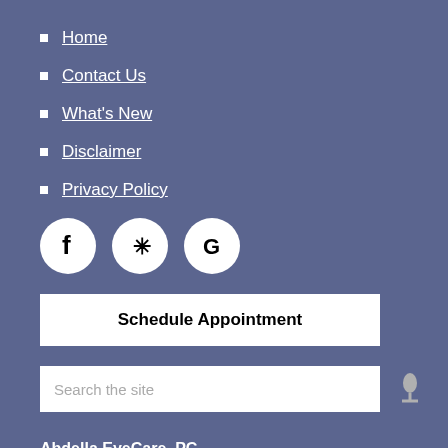Home
Contact Us
What's New
Disclaimer
Privacy Policy
[Figure (other): Social media icons: Facebook, Yelp, Google]
Schedule Appointment
Search the site
Abdella EyeCare, PC
1356 South Linden Road